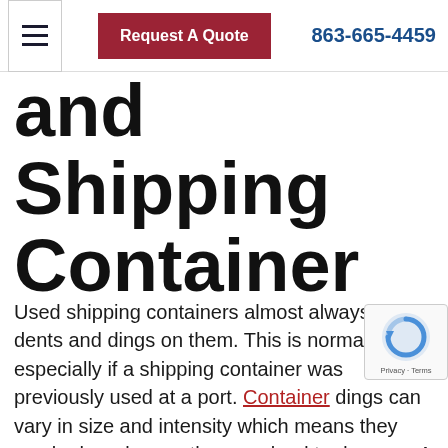≡  Request A Quote  863-665-4459
and Shipping Container
Used shipping containers almost always have dents and dings on them. This is normal, especially if a shipping container was previously used at a port. Container dings can vary in size and intensity which means they can be harmless or they can lead to damage. A dent that has deeply scraped the box may remove the pain which means this area will rust in the future. If that occurs on the side of the